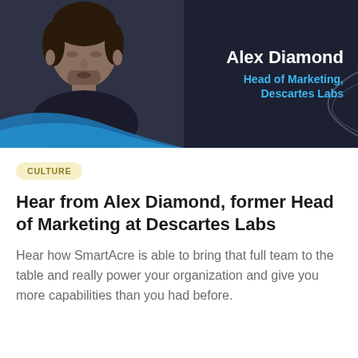[Figure (photo): Video thumbnail showing Alex Diamond, Head of Marketing at Descartes Labs. Dark background with a man in a black shirt on the left side and white/blue text on the right side identifying him.]
CULTURE
Hear from Alex Diamond, former Head of Marketing at Descartes Labs
Hear how SmartAcre is able to bring that full team to the table and really power your organization and give you more capabilities than you had before.